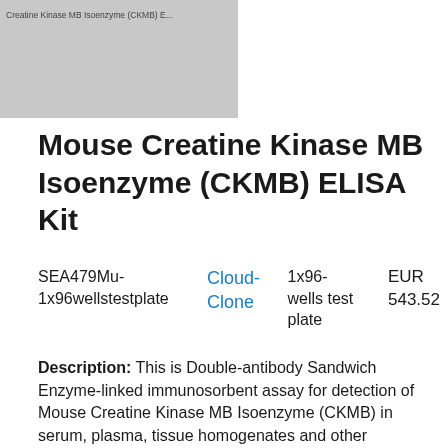[Figure (photo): Product image placeholder for Mouse Creatine Kinase MB Isoenzyme (CKMB) ELISA Kit, top]
Mouse Creatine Kinase MB Isoenzyme (CKMB) ELISA Kit
SEA479Mu-1x96wellstestplate   Cloud-Clone   1x96-wells test plate   EUR 543.52
Description: This is Double-antibody Sandwich Enzyme-linked immunosorbent assay for detection of Mouse Creatine Kinase MB Isoenzyme (CKMB) in serum, plasma, tissue homogenates and other biological fluids.
[Figure (photo): Product image placeholder for Mouse Creatine Kinase MB Isoenzyme (CKMB) ELISA Kit, bottom]
Mouse Creatine Kinase MB